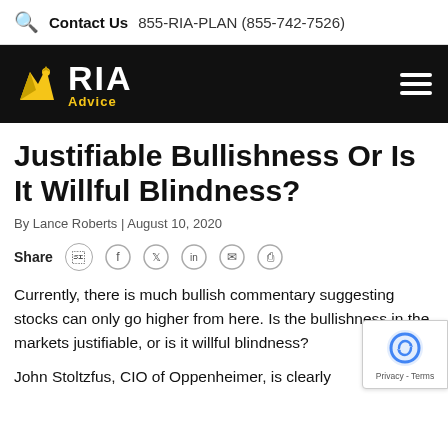Contact Us  855-RIA-PLAN (855-742-7526)
[Figure (logo): RIA Advice logo with eagle icon on black navigation bar]
Justifiable Bullishness Or Is It Willful Blindness?
By Lance Roberts | August 10, 2020
Share [social icons: Facebook, Twitter, LinkedIn, Email, Print]
Currently, there is much bullish commentary suggesting stocks can only go higher from here. Is the bullishness in the markets justifiable, or is it willful blindness?
John Stoltzfus, CIO of Oppenheimer, is clearly